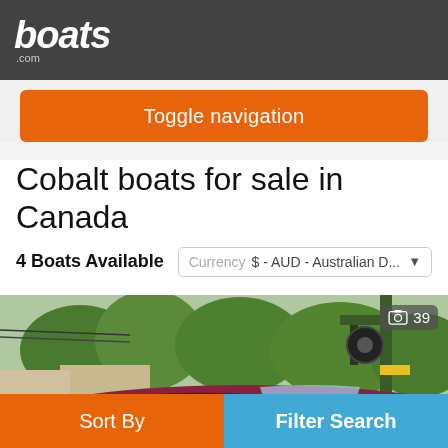boats.com
Toggle navigation
Cobalt boats for sale in Canada
4 Boats Available
Currency  $ - AUD - Australian D...
[Figure (photo): Photograph of a boat being lifted by a crane/hoist in a marina yard, surrounded by trees, with other boats and structures visible in the background. A photo count badge showing 39 is visible in the top right corner.]
Sort By
Filter Search